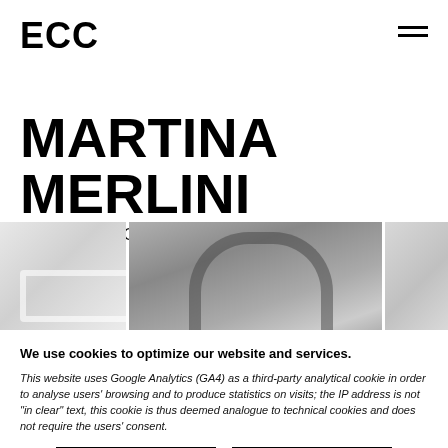ECC
MARTINA MERLINI
ECCPROJECTS #01
[Figure (photo): Three-panel horizontal image strip showing art installation photographs in black and white: left panel shows a white sculptural form, center panel shows a textured artwork with arch-like patterns, right panel shows a partial interior view.]
We use cookies to optimize our website and services.
This website uses Google Analytics (GA4) as a third-party analytical cookie in order to analyse users' browsing and to produce statistics on visits; the IP address is not "in clear" text, this cookie is thus deemed analogue to technical cookies and does not require the users' consent.
Accept
Decline